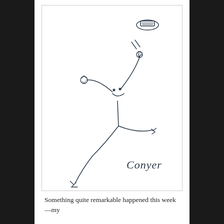[Figure (illustration): A simple line drawing of a joyful stick figure with a smiley face, arms raised, one hand reaching up toward a flying hat, legs spread in a jumping or dancing pose. The figure has small arrow-like decorations on the hands and feet. A cursive signature reading 'Conyer' appears in the lower right of the illustration.]
Something quite remarkable happened this week—my